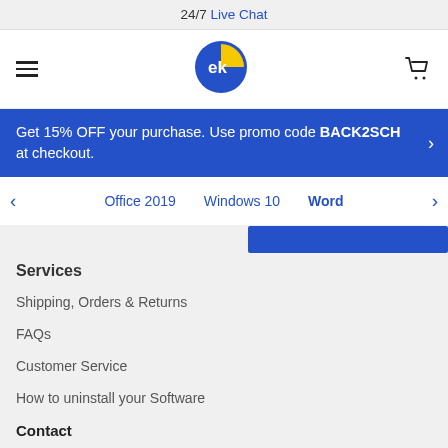24/7 Live Chat
[Figure (logo): EK software logo — blue and yellow circular logo with 'ek' text]
Get 15% OFF your purchase. Use promo code BACK2SCH at checkout.
Office 2019
Windows 10
Word
Services
Shipping, Orders & Returns
FAQs
Customer Service
How to uninstall your Software
Contact
1920 Thomes Ave WY, Cheyenne
+1 877-537-1926